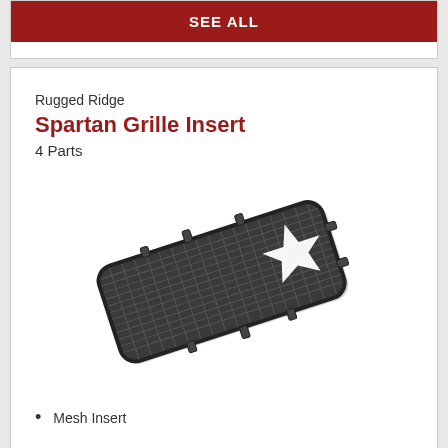SEE ALL
Rugged Ridge
Spartan Grille Insert
4 Parts
[Figure (photo): A Spartan Grille Insert product shown at an angle, featuring a dark mesh grille insert with a white military star design and mounting clips around the perimeter.]
Mesh Insert